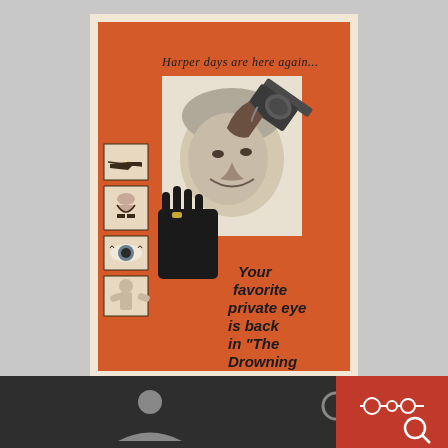[Figure (illustration): Movie poster for 'The Drowning Pool' featuring a smiling man (Paul Newman) in black and white photo on an orange background. Text reads 'Harper days are here again...' at the top and 'Your favorite private eye is back in "The Drowning...' at the bottom right. Left side has small illustrated vignettes of a gun, a woman in bikini, an eye, and a muscular figure. A large revolver gun appears on the right side.]
[Figure (screenshot): Bottom navigation bar on dark background with user icon, search icon on left/center, and a red box with filter/search icons on the right.]